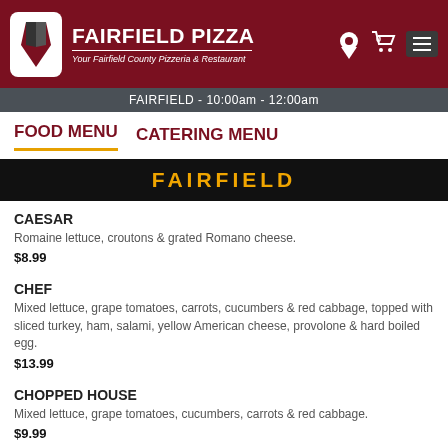FAIRFIELD PIZZA - Your Fairfield County Pizzeria & Restaurant
FAIRFIELD - 10:00am - 12:00am
FOOD MENU   CATERING MENU
FAIRFIELD
CAESAR
Romaine lettuce, croutons & grated Romano cheese.
$8.99
CHEF
Mixed lettuce, grape tomatoes, carrots, cucumbers & red cabbage, topped with sliced turkey, ham, salami, yellow American cheese, provolone & hard boiled egg.
$13.99
CHOPPED HOUSE
Mixed lettuce, grape tomatoes, cucumbers, carrots & red cabbage.
$9.99